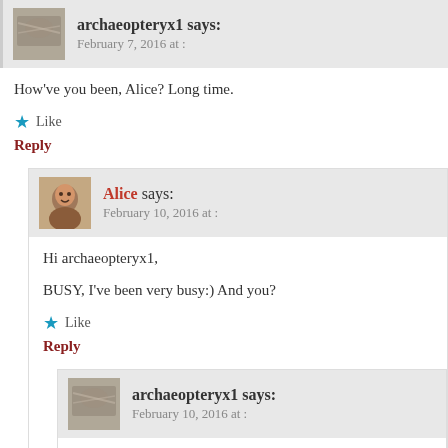archaeopteryx1 says:
February 7, 2016 at :
How've you been, Alice? Long time.
Like
Reply
Alice says:
February 10, 2016 at :
Hi archaeopteryx1,
BUSY, I've been very busy:) And you?
Like
Reply
archaeopteryx1 says:
February 10, 2016 at :
Just puttin' one foot in front of the other.